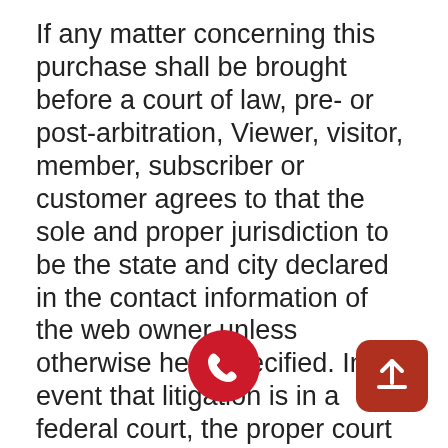If any matter concerning this purchase shall be brought before a court of law, pre- or post-arbitration, Viewer, visitor, member, subscriber or customer agrees to that the sole and proper jurisdiction to be the state and city declared in the contact information of the web owner unless otherwise here specified. In the event that litigation is in a federal court, the proper court shall be the federal court of the websites choice.
Billing model and cancellation/refund policy
Refunds can be requ[ested] by contacting customer support by [click]ing on the link in the footer of the website or through the automated...